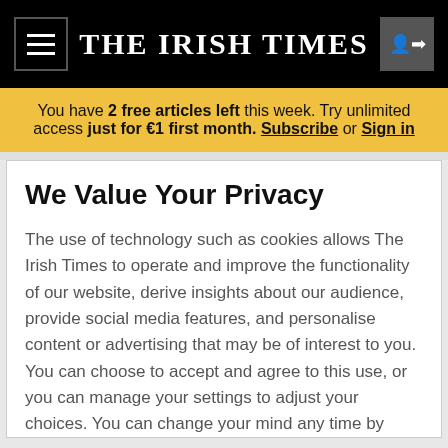THE IRISH TIMES
You have 2 free articles left this week. Try unlimited access just for €1 first month. Subscribe or Sign in
We Value Your Privacy
The use of technology such as cookies allows The Irish Times to operate and improve the functionality of our website, derive insights about our audience, provide social media features, and personalise content or advertising that may be of interest to you. You can choose to accept and agree to this use, or you can manage your settings to adjust your choices. You can change your mind any time by returning to this site. If you do not allow certain cookies some areas of this site may not function as intended. To find out more please